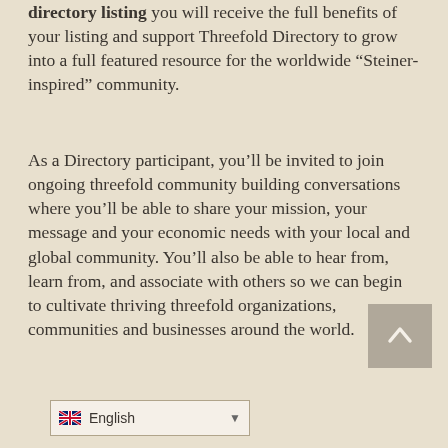directory listing you will receive the full benefits of your listing and support Threefold Directory to grow into a full featured resource for the worldwide “Steiner-inspired” community.
As a Directory participant, you’ll be invited to join ongoing threefold community building conversations where you’ll be able to share your mission, your message and your economic needs with your local and global community. You’ll also be able to hear from, learn from, and associate with others so we can begin to cultivate thriving threefold organizations, communities and businesses around the world.